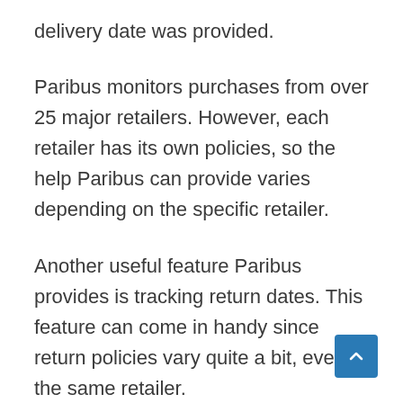delivery date was provided.
Paribus monitors purchases from over 25 major retailers. However, each retailer has its own policies, so the help Paribus can provide varies depending on the specific retailer.
Another useful feature Paribus provides is tracking return dates. This feature can come in handy since return policies vary quite a bit, even at the same retailer.
Paribus is completely free and is run by Cap One. They don't even keep any of the money